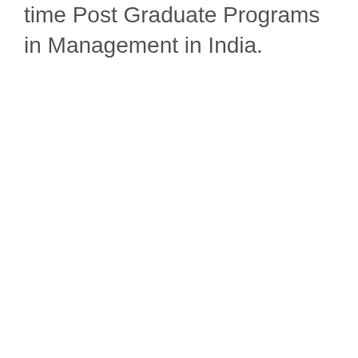time Post Graduate Programs in Management in India.